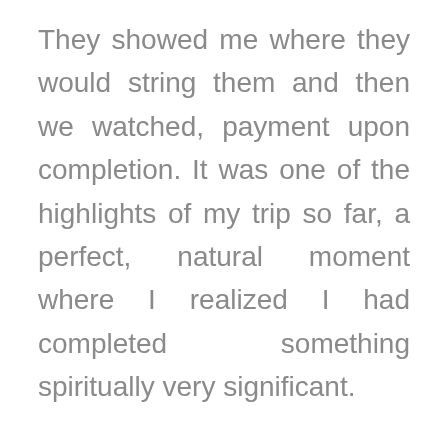They showed me where they would string them and then we watched, payment upon completion. It was one of the highlights of my trip so far, a perfect, natural moment where I realized I had completed something spiritually very significant.

We had chanted the Tibentan Prayer for the Dead for 49 days after she died, her Guru Kriyananda had done the Kriya rituals for her as well, we had a